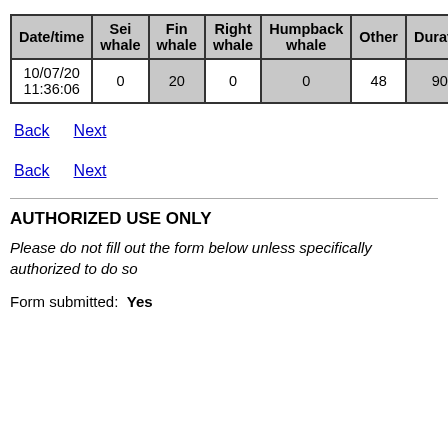| Date/time | Sei whale | Fin whale | Right whale | Humpback whale | Other | Duration |
| --- | --- | --- | --- | --- | --- | --- |
| 10/07/20 11:36:06 | 0 | 20 | 0 | 0 | 48 | 900 |
Back   Next
Back   Next
AUTHORIZED USE ONLY
Please do not fill out the form below unless specifically authorized to do so
Form submitted:  Yes